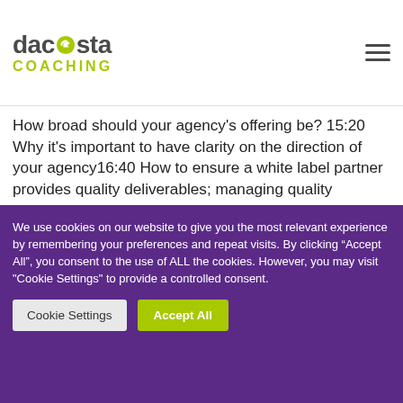dacosta COACHING
How broad should your agency's offering be? 15:20 Why it's important to have clarity on the direction of your agency16:40 How to ensure a white label partner provides quality deliverables; managing quality assurance 21:12 Tips for agencies to find outsourcing partners
We use cookies on our website to give you the most relevant experience by remembering your preferences and repeat visits. By clicking "Accept All", you consent to the use of ALL the cookies. However, you may visit "Cookie Settings" to provide a controlled consent.
Cookie Settings | Accept All